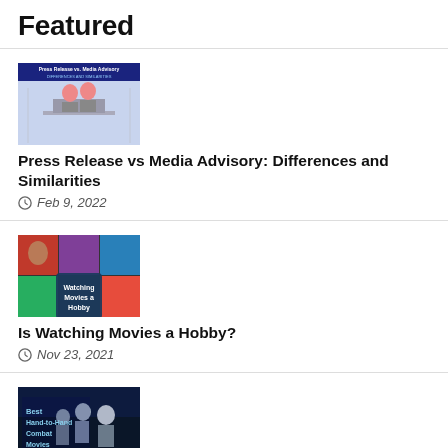Featured
[Figure (photo): Thumbnail image for Press Release vs Media Advisory article showing two people at a podium with text overlay]
Press Release vs Media Advisory: Differences and Similarities
Feb 9, 2022
[Figure (photo): Thumbnail collage image with text 'Watching Movies a Hobby' overlay on dark background with movie-related photos]
Is Watching Movies a Hobby?
Nov 23, 2021
[Figure (photo): Thumbnail image showing action movie characters with text 'Best Hand-to-Hand Combat Movies' overlay]
Best Hand-to-Hand Combat Movies: A Definitive List